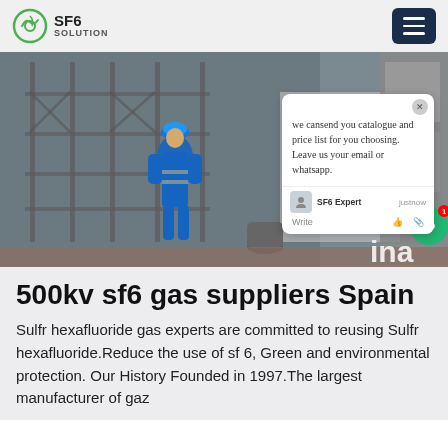SF6 SOLUTION
[Figure (photo): Industrial worker in blue hard hat and coveralls standing in a factory/industrial setting with scaffolding and equipment. A chat popup overlay is visible on the right side showing a message about sending catalogue and price list.]
500kv sf6 gas suppliers Spain
Sulfr hexafluoride gas experts are committed to reusing Sulfr hexafluoride.Reduce the use of sf 6, Green and environmental protection. Our History Founded in 1997.The largest manufacturer of gaz